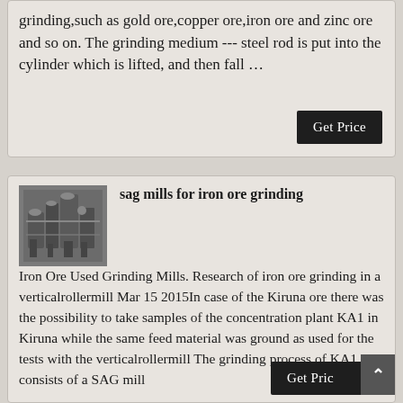grinding,such as gold ore,copper ore,iron ore and zinc ore and so on. The grinding medium --- steel rod is put into the cylinder which is lifted, and then fall …
[Figure (photo): Photo of industrial grinding mill machinery with pipes and equipment]
sag mills for iron ore grinding
Iron Ore Used Grinding Mills. Research of iron ore grinding in a verticalrollermill Mar 15 2015In case of the Kiruna ore there was the possibility to take samples of the concentration plant KA1 in Kiruna while the same feed material was ground as used for the tests with the verticalrollermill The grinding process of KA1 consists of a SAG mill